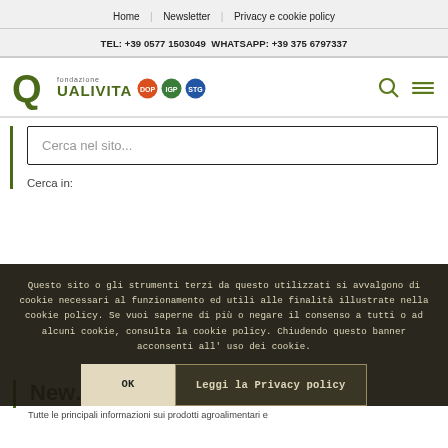Home | Newsletter | Privacy e cookie policy
TEL: +39 0577 1503049 WHATSAPP: +39 375 6797337
[Figure (logo): Fondazione Qualivita logo with Q icon and colored certification circles]
Cerca nel sito...
Cerca in:
Questo sito o gli strumenti terzi da questo utilizzati si avvalgono di cookie necessari al funzionamento ed utili alle finalità illustrate nella cookie policy. Se vuoi saperne di più o negare il consenso a tutti o ad alcuni cookie, consulta la cookie policy. Chiudendo questo banner acconsenti all'uso dei cookie.
OK
Leggi la Privacy policy
New...
Tutte le principali informazioni sui prodotti agroalimentari e